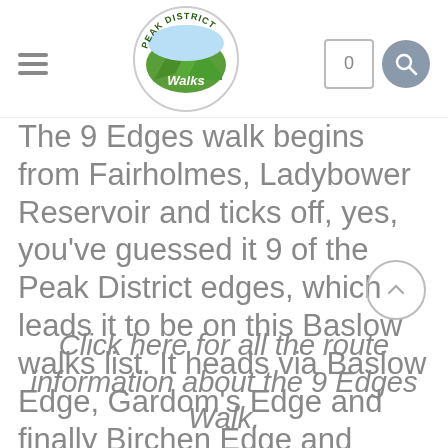Peak District Walks — navigation header with logo, cart (0), and search
The 9 Edges walk begins from Fairholmes, Ladybower Reservoir and ticks off, yes, you've guessed it 9 of the Peak District edges, which leads it to be on this Baslow walks list. It heads via Baslow Edge, Gardom's Edge and finally Birchen Edge and therefore finishes near Baslow.
Click here for all the route information about the 9 Edges Walk.